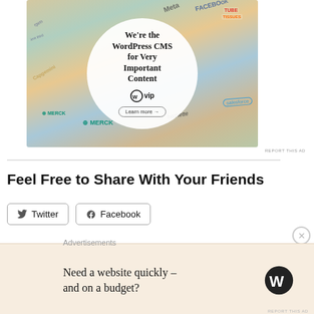[Figure (illustration): WordPress VIP advertisement banner showing a circular white overlay with text 'We're the WordPress CMS for Very Important Content' and WordPress VIP logo, over a colorful collage of website/brand thumbnails including Meta, Facebook, Merck, Hachette, Capgemini, Salesforce. Includes a 'Learn more' button.]
REPORT THIS AD
Feel Free to Share With Your Friends
Twitter
Facebook
Advertisements
[Figure (illustration): WordPress advertisement in a tan/beige banner. Text reads 'Need a website quickly – and on a budget?' with WordPress logo on the right.]
REPORT THIS AD